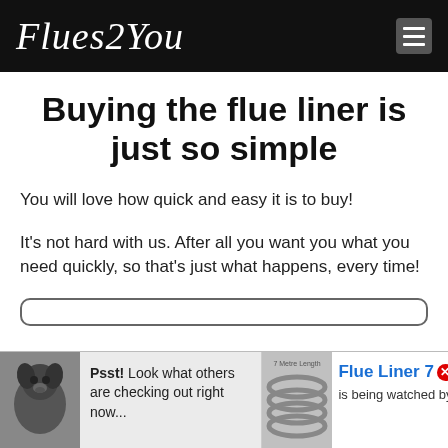Flues2You
Buying the flue liner is just so simple
You will love how quick and easy it is to buy!
It's not hard with us. After all you want you what you need quickly, so that's just what happens, every time!
[Figure (screenshot): Rounded rectangle box border, partially visible at bottom of content area]
Psst! Look what others are checking out right now...
Flue Liner 7 is being watched by Pa